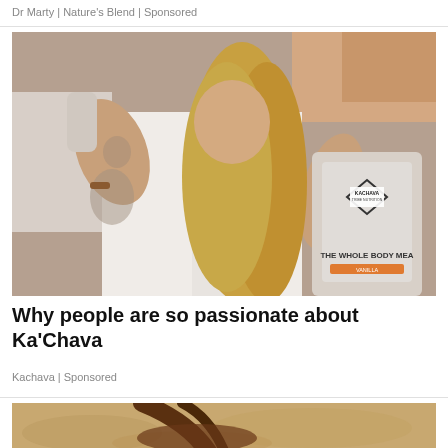Dr Marty | Nature's Blend | Sponsored
[Figure (photo): Woman with tattoos drinking a shake and holding a Ka'Chava branded bag labeled 'The Whole Body Meal' in Vanilla flavor.]
Why people are so passionate about Ka'Chava
Kachava | Sponsored
[Figure (photo): Partial view of sandals on sandy ground — bottom cropped advertisement image.]